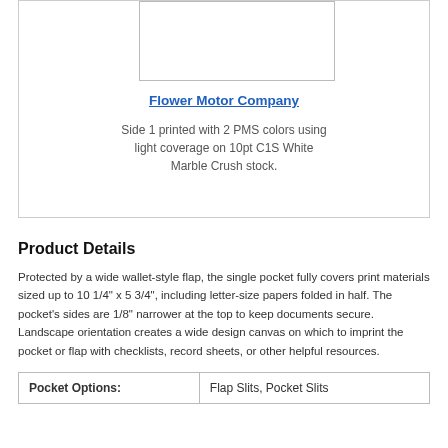[Figure (photo): White rectangular image placeholder box]
Flower Motor Company
Side 1 printed with 2 PMS colors using light coverage on 10pt C1S White Marble Crush stock.
Product Details
Protected by a wide wallet-style flap, the single pocket fully covers print materials sized up to 10 1/4" x 5 3/4", including letter-size papers folded in half. The pocket's sides are 1/8" narrower at the top to keep documents secure. Landscape orientation creates a wide design canvas on which to imprint the pocket or flap with checklists, record sheets, or other helpful resources.
| Pocket Options: |  |
| --- | --- |
| Pocket Options: | Flap Slits, Pocket Slits |